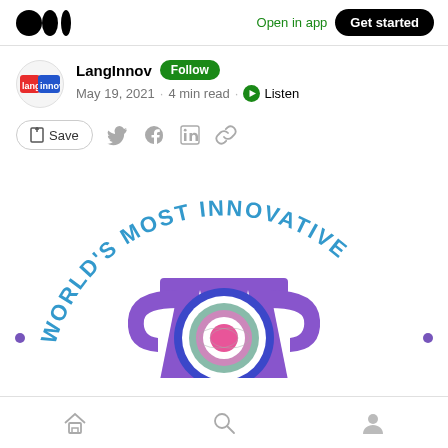Medium logo | Open in app | Get started
LangInnov · Follow · May 19, 2021 · 4 min read · Listen
Save (bookmark icon) · Twitter · Facebook · LinkedIn · Link
[Figure (illustration): World's Most Innovative trophy illustration with purple cup and concentric circles, text arcing around the top reading WORLD'S MOST INNOVATIVE in blue]
Home · Search · Profile (bottom navigation icons)